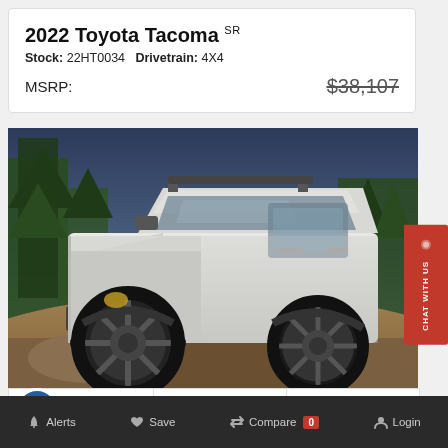2022 Toyota Tacoma SR
Stock: 22HT0034   Drivetrain: 4X4
MSRP: $38,107
[Figure (photo): 2022 Toyota Tacoma SR white pickup truck on rocky terrain with trees and dark sky in background]
2022 Toyota Tacoma SR
Alerts   Save   Compare 0   Login